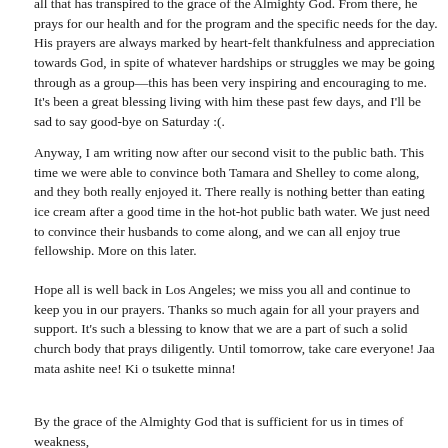all that has transpired to the grace of the Almighty God. From there, he prays for our health and for the program and the specific needs for the day. His prayers are always marked by heart-felt thankfulness and appreciation towards God, in spite of whatever hardships or struggles we may be going through as a group—this has been very inspiring and encouraging to me. It's been a great blessing living with him these past few days, and I'll be sad to say good-bye on Saturday :(.
Anyway, I am writing now after our second visit to the public bath. This time we were able to convince both Tamara and Shelley to come along, and they both really enjoyed it. There really is nothing better than eating ice cream after a good time in the hot-hot public bath water. We just need to convince their husbands to come along, and we can all enjoy true fellowship. More on this later.
Hope all is well back in Los Angeles; we miss you all and continue to keep you in our prayers. Thanks so much again for all your prayers and support. It's such a blessing to know that we are a part of such a solid church body that prays diligently. Until tomorrow, take care everyone! Jaa mata ashite nee! Ki o tsukette minna!
By the grace of the Almighty God that is sufficient for us in times of weakness,